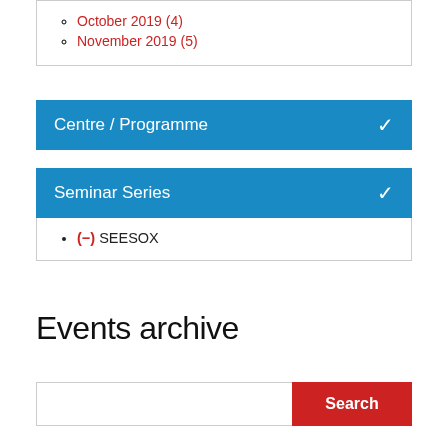October 2019 (4)
November 2019 (5)
Centre / Programme
Seminar Series
(-) SEESOX
Events archive
Search